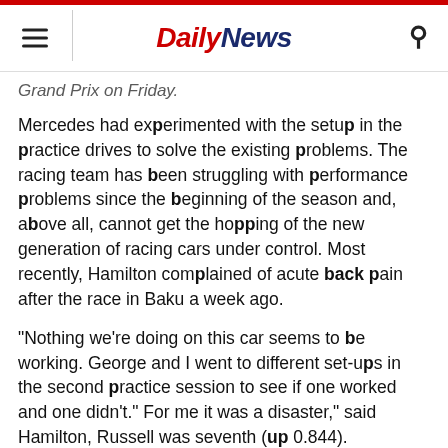Daily News
Grand Prix on Friday.
Mercedes had experimented with the setup in the practice drives to solve the existing problems. The racing team has been struggling with performance problems since the beginning of the season and, above all, cannot get the hopping of the new generation of racing cars under control. Most recently, Hamilton complained of acute back pain after the race in Baku a week ago.
"Nothing we're doing on this car seems to be working. George and I went to different set-ups in the second practice session to see if one worked and one didn't." For me it was a disaster," said Hamilton, Russell was seventh (up 0.844).
Especially over the high curbs on the Montreal